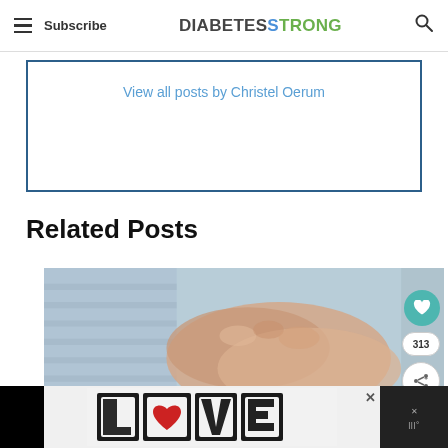Subscribe | DIABETESTRONG
View all posts by Christel Oerum
Related Posts
[Figure (photo): Close-up photo of two people holding hands, one person wearing a striped shirt, soft focus background]
[Figure (photo): Advertisement banner showing decorative LOVE text art with black and white intricate designs and a red heart]